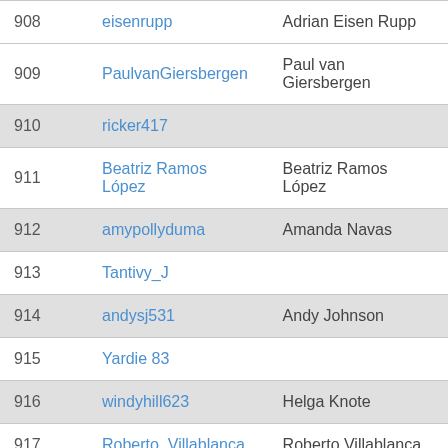| # | Username | Real Name |
| --- | --- | --- |
| 908 | eisenrupp | Adrian Eisen Rupp |
| 909 | PaulvanGiersbergen | Paul van Giersbergen |
| 910 | ricker417 |  |
| 911 | Beatriz Ramos López | Beatriz Ramos López |
| 912 | amypollyduma | Amanda Navas |
| 913 | Tantivy_J |  |
| 914 | andysj531 | Andy Johnson |
| 915 | Yardie 83 |  |
| 916 | windyhill623 | Helga Knote |
| 917 | Roberto_Villablanca | Roberto Villablanca |